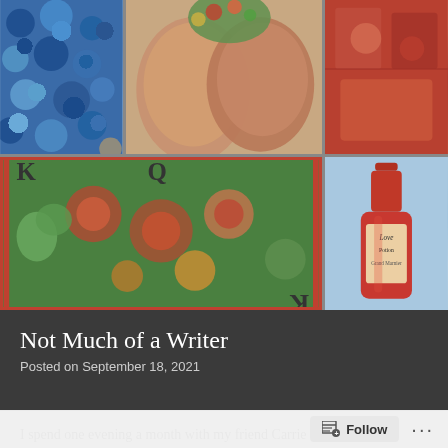[Figure (illustration): Collage artwork showing multiple panels: top-left blue mosaic/floral pattern, top-center two faces with flowers, top-right abstract reddish shapes, bottom-left playing card style King and Queen with colorful floral motifs on green background with red border, bottom-right watercolor painting of a red liquor bottle (Grand Marnier) on light blue background]
Not Much of a Writer
Posted on September 18, 2021
I spend one evening a month with my friend Carrie Schuetz